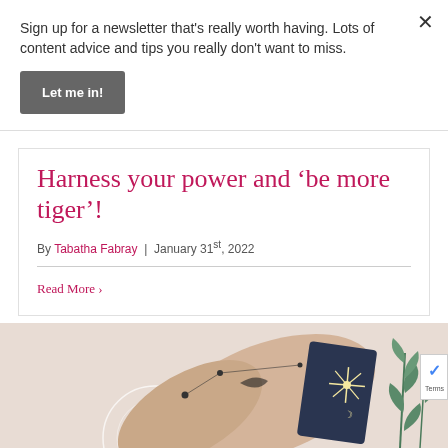Sign up for a newsletter that's really worth having. Lots of content advice and tips you really don't want to miss.
Let me in!
Harness your power and 'be more tiger'!
By Tabatha Fabray | January 31st, 2022
Read More >
[Figure (illustration): Illustration of mystical/tarot themed artwork with hands, moon, stars, tarot card with star design, and botanical plant elements on a pinkish-beige background]